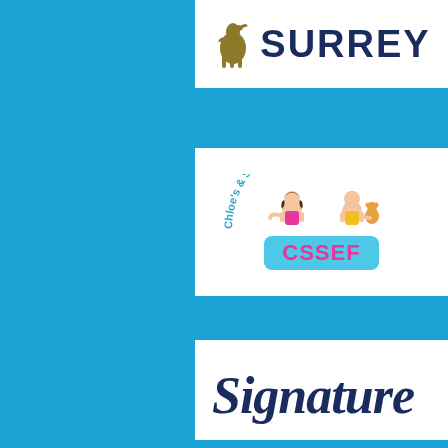[Figure (logo): Surrey County Council logo with horse/wyvern icon and SURREY text in dark navy]
[Figure (logo): CSSEF - Chloe's & Sophie's Special Ears Fund logo with two cartoon girls and a teddy bear, curved text around them, and CSSEF in pink on blue badge]
[Figure (logo): Signature logo in dark navy cursive/handwritten style text on white background]